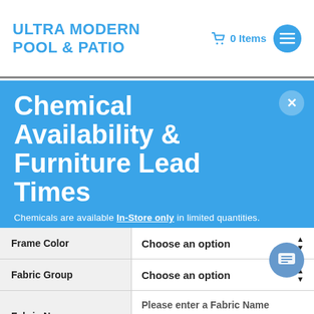ULTRA MODERN POOL & PATIO — 0 Items
Chemical Availability & Furniture Lead Times
Chemicals are available In-Store only in limited quantities.
All furniture items have extended lead times due to supply delays and high demand. Posted lead times on items are are NOT
Frame Color — Choose an option
Fabric Group — Choose an option
Fabric Name — Please enter a Fabric Name
Quantity: 1   Add to Cart